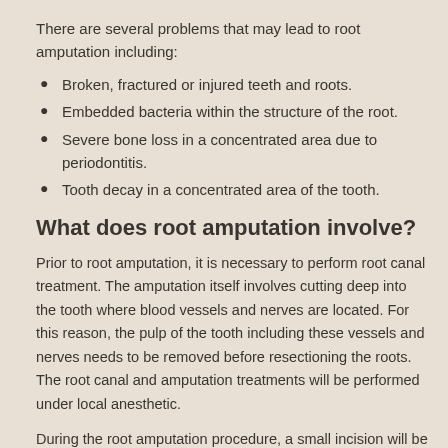There are several problems that may lead to root amputation including:
Broken, fractured or injured teeth and roots.
Embedded bacteria within the structure of the root.
Severe bone loss in a concentrated area due to periodontitis.
Tooth decay in a concentrated area of the tooth.
What does root amputation involve?
Prior to root amputation, it is necessary to perform root canal treatment. The amputation itself involves cutting deep into the tooth where blood vessels and nerves are located. For this reason, the pulp of the tooth including these vessels and nerves needs to be removed before resectioning the roots. The root canal and amputation treatments will be performed under local anesthetic.
During the root amputation procedure, a small incision will be created in the gum to fully expose the roots of the affected tooth. The root will be sectioned off from the rest of the tooth and then removed. To kill any